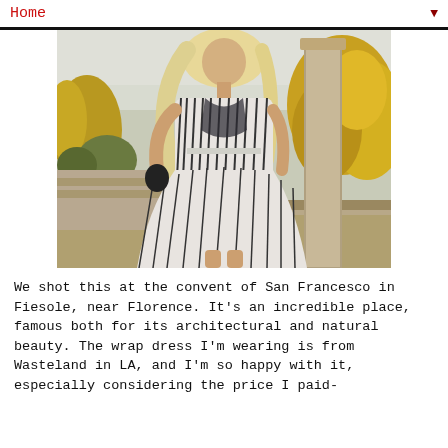Home ▼
[Figure (photo): Woman with long blonde hair wearing a black and white striped wrap dress, standing outdoors near a stone column with yellow autumn trees in the background, at the convent of San Francesco in Fiesole near Florence.]
We shot this at the convent of San Francesco in Fiesole, near Florence. It's an incredible place, famous both for its architectural and natural beauty. The wrap dress I'm wearing is from Wasteland in LA, and I'm so happy with it, especially considering the price I paid-